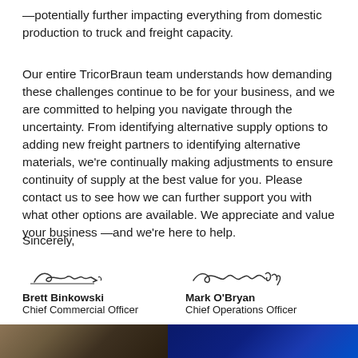—potentially further impacting everything from domestic production to truck and freight capacity.
Our entire TricorBraun team understands how demanding these challenges continue to be for your business, and we are committed to helping you navigate through the uncertainty. From identifying alternative supply options to adding new freight partners to identifying alternative materials, we're continually making adjustments to ensure continuity of supply at the best value for you. Please contact us to see how we can further support you with what other options are available. We appreciate and value your business —and we're here to help.
Sincerely,
[Figure (illustration): Handwritten signature of Brett Binkowski]
Brett Binkowski
Chief Commercial Officer
[Figure (illustration): Handwritten signature of Mark O'Bryan]
Mark O'Bryan
Chief Operations Officer
[Figure (photo): Footer image split: left side brown/tan textured image, right side dark blue image]